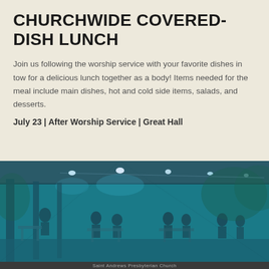CHURCHWIDE COVERED-DISH LUNCH
Join us following the worship service with your favorite dishes in tow for a delicious lunch together as a body! Items needed for the meal include main dishes, hot and cold side items, salads, and desserts.
July 23 | After Worship Service | Great Hall
[Figure (photo): Outdoor covered pavilion with people seated at tables, lit with overhead lights, blue tinted photo]
Saint Andrews Presbyterian Church